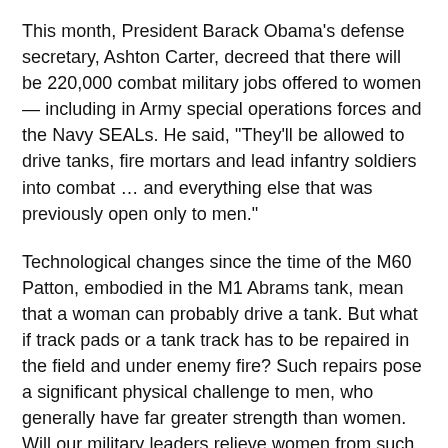This month, President Barack Obama's defense secretary, Ashton Carter, decreed that there will be 220,000 combat military jobs offered to women — including in Army special operations forces and the Navy SEALs. He said, "They'll be allowed to drive tanks, fire mortars and lead infantry soldiers into combat … and everything else that was previously open only to men."
Technological changes since the time of the M60 Patton, embodied in the M1 Abrams tank, mean that a woman can probably drive a tank. But what if track pads or a tank track has to be repaired in the field and under enemy fire? Such repairs pose a significant physical challenge to men, who generally have far greater strength than women. Will our military leaders relieve women from such a task, claiming that demanding equal performance creates a "disparate," sexually discriminatory i[P][x]?